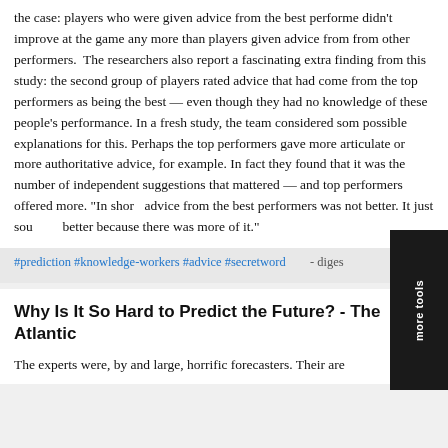the case: players who were given advice from the best performers didn't improve at the game any more than players given advice from from other performers. The researchers also report a fascinating extra finding from this study: the second group of players rated advice that had come from the top performers as being the best — even though they had no knowledge of these people's performance. In a fresh study, the team considered some possible explanations for this. Perhaps the top performers gave more articulate or more authoritative advice, for example. In fact, they found that it was the number of independent suggestions that mattered — and top performers offered more. "In short, advice from the best performers was not better. It just sounded better because there was more of it."
#prediction #knowledge-workers #advice #secretword - diges...
Why Is It So Hard to Predict the Future? - The Atlantic
The experts were, by and large, horrific forecasters. Their are...